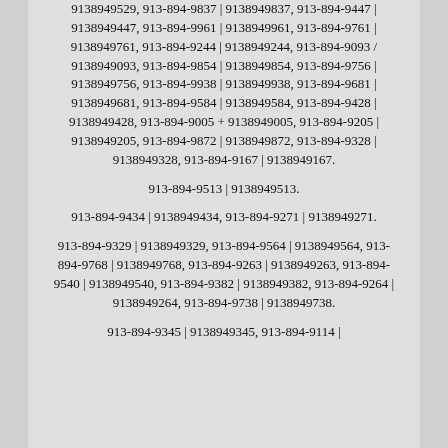9138949529, 913-894-9837 | 9138949837, 913-894-9447 | 9138949447, 913-894-9961 | 9138949961, 913-894-9761 | 9138949761, 913-894-9244 | 9138949244, 913-894-9093 / 9138949093, 913-894-9854 | 9138949854, 913-894-9756 | 9138949756, 913-894-9938 | 9138949938, 913-894-9681 | 9138949681, 913-894-9584 | 9138949584, 913-894-9428 | 9138949428, 913-894-9005 + 9138949005, 913-894-9205 | 9138949205, 913-894-9872 | 9138949872, 913-894-9328 | 9138949328, 913-894-9167 | 9138949167.
913-894-9513 | 9138949513.
913-894-9434 | 9138949434, 913-894-9271 | 9138949271.
913-894-9329 | 9138949329, 913-894-9564 | 9138949564, 913-894-9768 | 9138949768, 913-894-9263 | 9138949263, 913-894-9540 | 9138949540, 913-894-9382 | 9138949382, 913-894-9264 | 9138949264, 913-894-9738 | 9138949738.
913-894-9345 | 9138949345, 913-894-9114 |